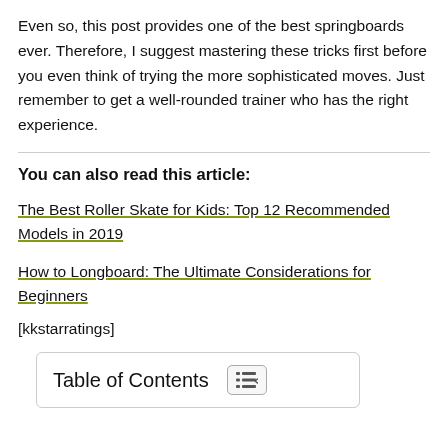Even so, this post provides one of the best springboards ever. Therefore, I suggest mastering these tricks first before you even think of trying the more sophisticated moves. Just remember to get a well-rounded trainer who has the right experience.
You can also read this article:
The Best Roller Skate for Kids: Top 12 Recommended Models in 2019
How to Longboard: The Ultimate Considerations for Beginners
[kkstarratings]
Table of Contents